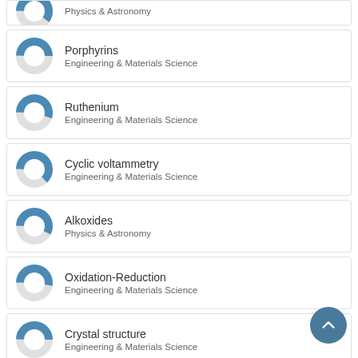Physics & Astronomy
Porphyrins
Engineering & Materials Science
Ruthenium
Engineering & Materials Science
Cyclic voltammetry
Engineering & Materials Science
Alkoxides
Physics & Astronomy
Oxidation-Reduction
Engineering & Materials Science
Crystal structure
Engineering & Materials Science